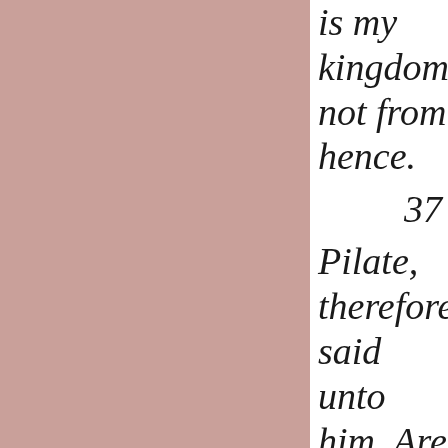[Figure (other): Solid mauve/dusty rose colored rectangle filling the left portion of the page]
is my kingdom not from hence. 37 Pilate, therefore, said unto him, Are